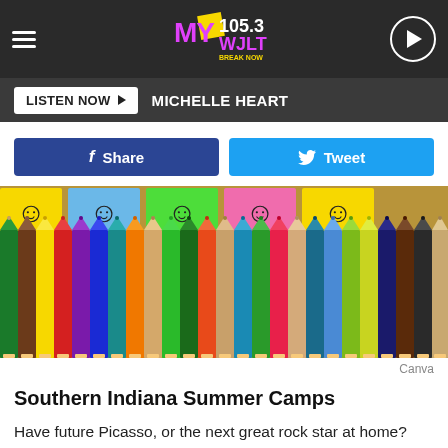MY 105.3 WJLT — LISTEN NOW — MICHELLE HEART
[Figure (screenshot): Colored pencils arranged vertically on a corkboard with smiley face notes above them]
Canva
Southern Indiana Summer Camps
Have future Picasso, or the next great rock star at home? These camps will give them a constructive place to explore their artistic side.